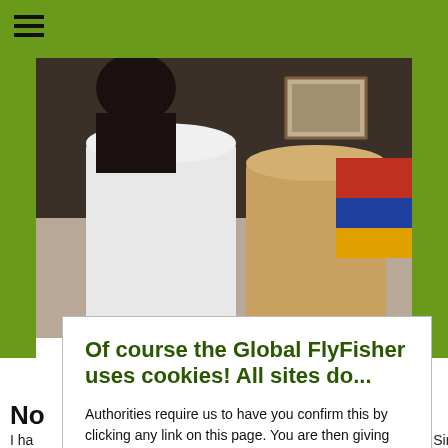Global FlyFisher navigation header with hamburger menu
[Figure (photo): Two large ceramic mugs photographed from above/side on a table, with colorful items visible in background]
Of course the Global FlyFisher uses cookies! All sites do...
Authorities require us to have you confirm this by clicking any link on this page. You are then giving your consent for us to set cookies. No cookies, no GFF!
More about privacy and cookies
OK, I agree
No
I ha                                                      he pric                                                    Since